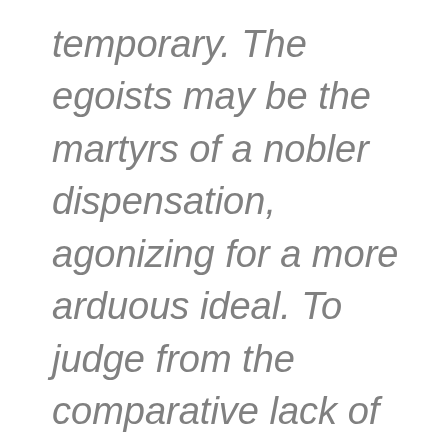temporary. The egoists may be the martyrs of a nobler dispensation, agonizing for a more arduous ideal. To judge from the comparative lack of ease in their social manner, this seems a reasonable suggestion. There is one thing that